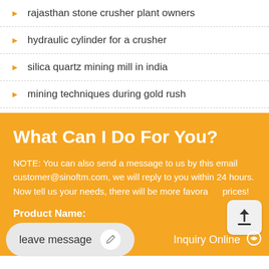rajasthan stone crusher plant owners
hydraulic cylinder for a crusher
silica quartz mining mill in india
mining techniques during gold rush
What Can I Do For You?
NOTE: You can also send a message to us by this email customer@sinoftm.com, we will reply to you within 24 hours. Now tell us your needs, there will be more favorable prices!
Product Name: